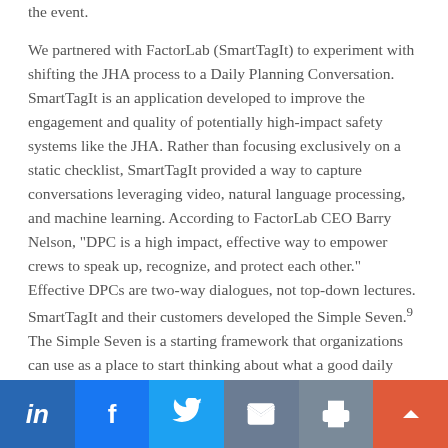the event.

We partnered with FactorLab (SmartTagIt) to experiment with shifting the JHA process to a Daily Planning Conversation. SmartTagIt is an application developed to improve the engagement and quality of potentially high-impact safety systems like the JHA. Rather than focusing exclusively on a static checklist, SmartTagIt provided a way to capture conversations leveraging video, natural language processing, and machine learning. According to FactorLab CEO Barry Nelson, "DPC is a high impact, effective way to empower crews to speak up, recognize, and protect each other." Effective DPCs are two-way dialogues, not top-down lectures. SmartTagIt and their customers developed the Simple Seven.9 The Simple Seven is a starting framework that organizations can use as a place to start thinking about what a good daily planning conversation
LinkedIn | Facebook | Twitter | Email | Print | Up